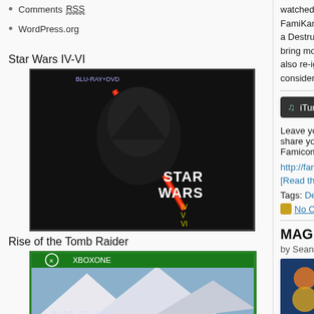Comments RSS
WordPress.org
Star Wars IV-VI
[Figure (photo): Star Wars IV-VI Blu-ray/DVD box set cover featuring Darth Vader with red lightsaber]
Rise of the Tomb Raider
[Figure (photo): Rise of the Tomb Raider Xbox One game box art showing the main character with weapons in a snowy mountain setting]
Super Mario Maker
[Figure (photo): Super Mario Maker Wii U game box art, partially visible]
watched — like FamiKamen Ri a Destructoid r bring more bee also re-ignites considered a g
[Figure (logo): iTunes button/badge]
Leave your own share your thou FamicomDojo.
http://famicomd
[Read the rest
Tags: Destructo
No Comme
MAGFest 2
by Sean "The(
[Figure (photo): MAGFest thumbnail image with Famicom Dojo logo overlay, showing a person in an orange shirt]